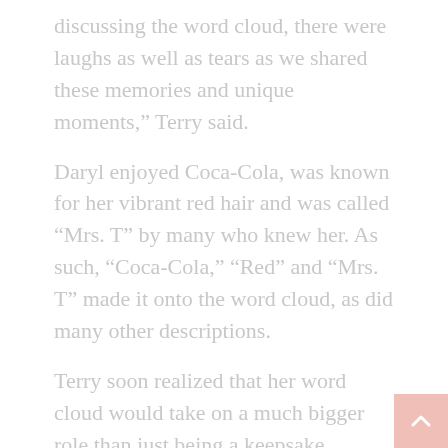discussing the word cloud, there were laughs as well as tears as we shared these memories and unique moments,” Terry said.
Daryl enjoyed Coca-Cola, was known for her vibrant red hair and was called “Mrs. T” by many who knew her. As such, “Coca-Cola,” “Red” and “Mrs. T” made it onto the word cloud, as did many other descriptions.
Terry soon realized that her word cloud would take on a much bigger role than just being a keepsake.
“What surprised me most was that we ended up making lots of copies of it and even placed it on the casket during my mother’s visitation, which